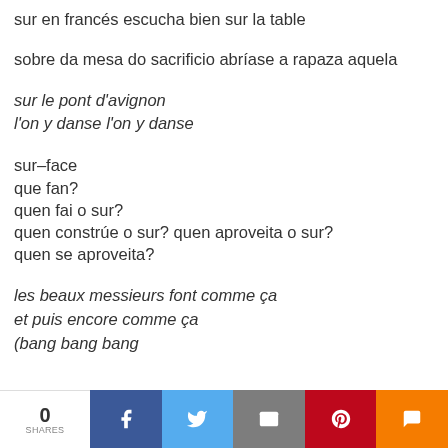sur en francés escucha bien sur la table
sobre da mesa do sacrificio abríase a rapaza aquela
sur le pont d'avignon
l'on y danse l'on y danse
sur–face
que fan?
quen fai o sur?
quen constrúe o sur? quen aproveita o sur?
quen se aproveita?
les beaux messieurs font comme ça
et puis encore comme ça
(bang bang bang
0  SHARES  [social share bar]